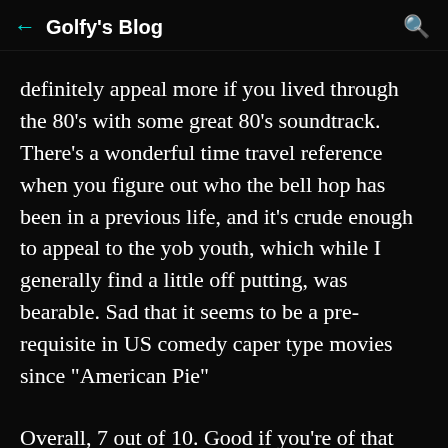← Golfy's Blog 🔍
definitely appeal more if you lived through the 80's with some great 80's soundtrack.  There's a wonderful time travel reference when you figure out who the bell hop has been in a previous life, and it's crude enough to appeal to the yob youth, which while I generally find a little off putting, was bearable. Sad that it seems to be a pre-requisite in US comedy caper type movies since "American Pie"
Overall, 7 out of 10. Good if you're of that era.